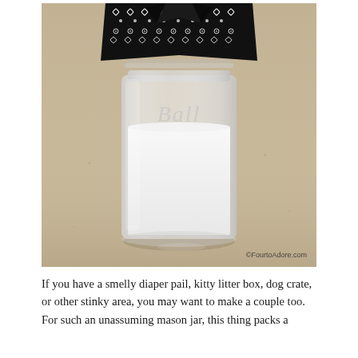[Figure (photo): A Ball mason jar filled with white powder (baking soda), topped with a black bandana with white paisley pattern tied around the lid. The jar sits on a beige/tan countertop. A watermark reads ©FourtoAdore.com in the lower right.]
If you have a smelly diaper pail, kitty litter box, dog crate, or other stinky area, you may want to make a couple too. For such an unassuming mason jar, this thing packs a